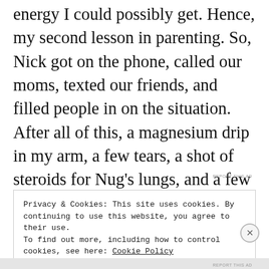energy I could possibly get. Hence, my second lesson in parenting. So, Nick got on the phone, called our moms, texted our friends, and filled people in on the situation. After all of this, a magnesium drip in my arm, a few tears, a shot of steroids for Nug's lungs, and a few doses of Labetalol to control my blood pressure, we were ready for the next step: Pitocin.
REPORT THIS AD
Privacy & Cookies: This site uses cookies. By continuing to use this website, you agree to their use.
To find out more, including how to control cookies, see here: Cookie Policy
Close and accept
REPORT THIS AD